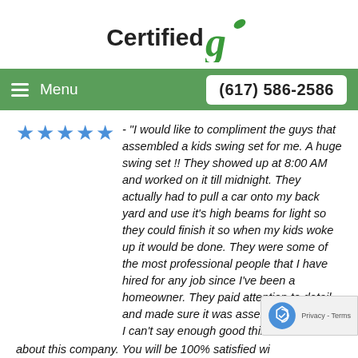[Figure (logo): CertifiedG company logo with green stylized G and green leaf icon]
Menu  (617) 586-2586
★★★★★ - "I would like to compliment the guys that assembled a kids swing set for me. A huge swing set !! They showed up at 8:00 AM and worked on it till midnight. They actually had to pull a car onto my back yard and use it's high beams for light so they could finish it so when my kids woke up it would be done. They were some of the most professional people that I have hired for any job since I've been a homeowner. They paid attention to detail and made sure it was assembled properly. I can't say enough good things about this company. You will be 100% satisfied wi their service."